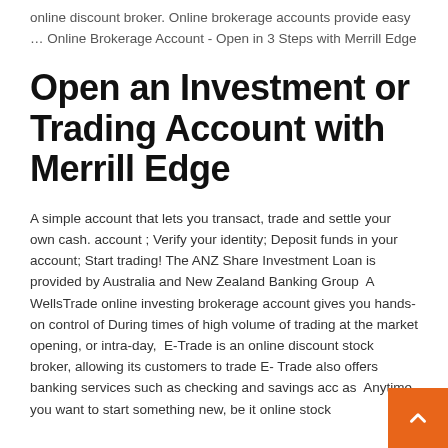online discount broker. Online brokerage accounts provide easy … Online Brokerage Account - Open in 3 Steps with Merrill Edge
Open an Investment or Trading Account with Merrill Edge
A simple account that lets you transact, trade and settle your own cash. account ; Verify your identity; Deposit funds in your account; Start trading! The ANZ Share Investment Loan is provided by Australia and New Zealand Banking Group  A WellsTrade online investing brokerage account gives you hands-on control of During times of high volume of trading at the market opening, or intra-day,  E-Trade is an online discount stock broker, allowing its customers to trade E- Trade also offers banking services such as checking and savings acc as  Anytime you want to start something new, be it online stock